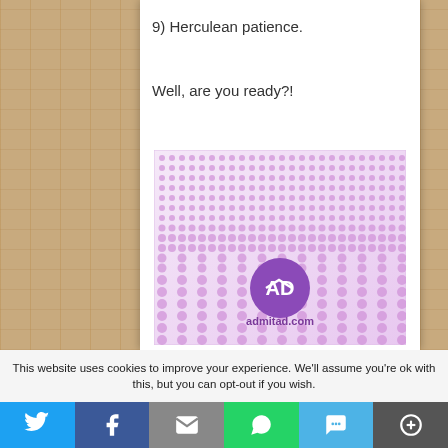9) Herculean patience.
Well, are you ready?!
[Figure (illustration): Advertisement banner for admitad.com featuring a purple/pink polka dot pattern background with the admitad logo (purple circle with white 'AD' letters) and the text 'admitad.com']
This website uses cookies to improve your experience. We'll assume you're ok with this, but you can opt-out if you wish.
[Figure (other): Social sharing bar with Twitter, Facebook, Email, WhatsApp, SMS, and More buttons]